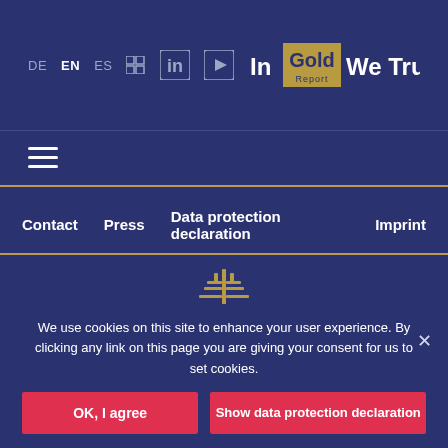DE  EN  ES  [icon]  [LinkedIn]  [YouTube]  In Gold We Trust Report
[Figure (logo): In Gold We Trust Report logo with gold background box]
[Figure (illustration): Hamburger menu icon (three horizontal lines)]
Contact    Press    Data protection declaration    Imprint
[Figure (logo): Gold tree logo/emblem centered on dark blue background with two dots below]
We use cookies on this site to enhance your user experience. By clicking any link on this page you are giving your consent for us to set cookies.
OK, I agree
Show data protection declaration